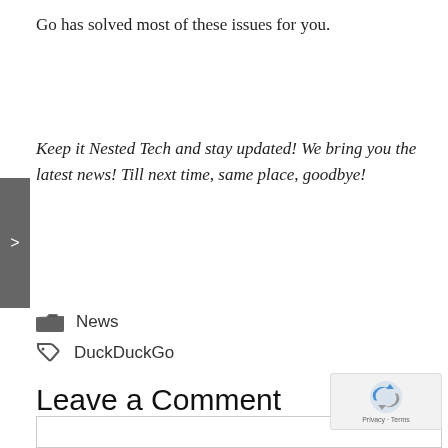Go has solved most of these issues for you.
Keep it Nested Tech and stay updated! We bring you the latest news! Till next time, same place, goodbye!
News
DuckDuckGo
Leave a Comment